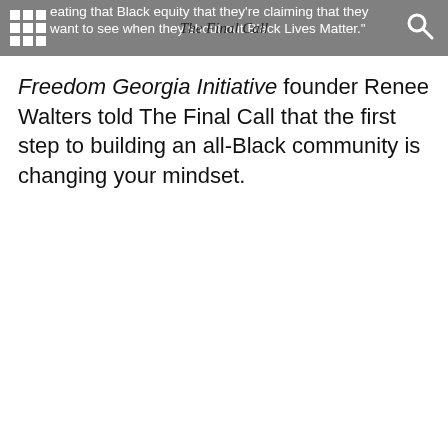eating that Black equity that they're claiming that they want to see when they shout out Black Lives Matter."
Freedom Georgia Initiative founder Renee Walters told The Final Call that the first step to building an all-Black community is changing your mindset.